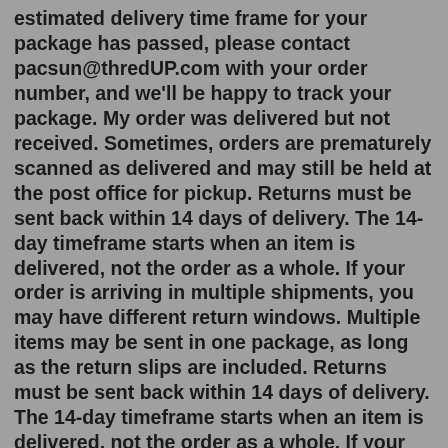estimated delivery time frame for your package has passed, please contact pacsun@thredUP.com with your order number, and we'll be happy to track your package. My order was delivered but not received. Sometimes, orders are prematurely scanned as delivered and may still be held at the post office for pickup. Returns must be sent back within 14 days of delivery. The 14-day timeframe starts when an item is delivered, not the order as a whole. If your order is arriving in multiple shipments, you may have different return windows. Multiple items may be sent in one package, as long as the return slips are included. Returns must be sent back within 14 days of delivery. The 14-day timeframe starts when an item is delivered, not the order as a whole. If your order is arriving in multiple shipments, you may have different return windows. Multiple items may be sent in one package, as long as the return slips are included. Refund Requirements: If 20 days have passed and you haven't gotten your refund yet,